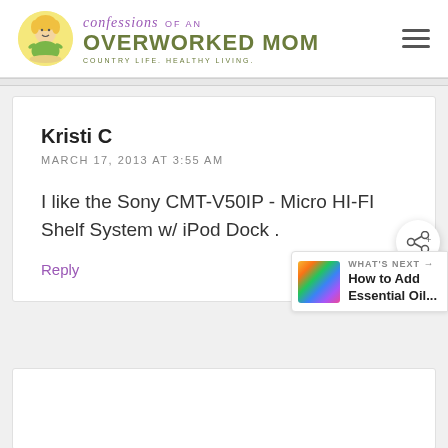confessions OF AN OVERWORKED MOM — COUNTRY LIFE. HEALTHY LIVING.
Kristi C
MARCH 17, 2013 AT 3:55 AM
I like the Sony CMT-V50IP - Micro HI-FI Shelf System w/ iPod Dock .
Reply
WHAT'S NEXT → How to Add Essential Oil...